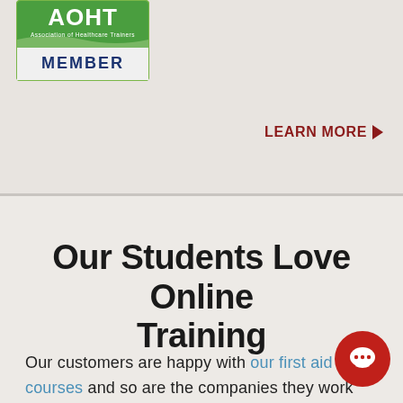[Figure (logo): AOHT Association of Healthcare Trainers MEMBER badge/logo with green background]
LEARN MORE ▶
Our Students Love Online Training
Our customers are happy with our first aid courses and so are the companies they work for.